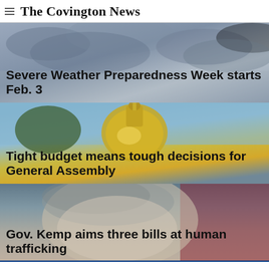The Covington News
[Figure (photo): Stormy sky with dark clouds, background image for weather article]
Severe Weather Preparedness Week starts Feb. 3
[Figure (photo): Gold dome of a capitol building against a blue sky with trees]
Tight budget means tough decisions for General Assembly
[Figure (photo): Close-up of a person's head with gray hair against a dark red background]
Gov. Kemp aims three bills at human trafficking